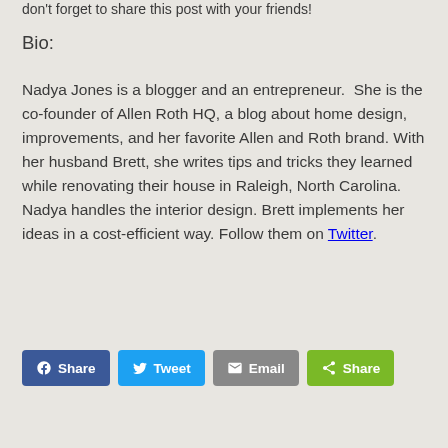don't forget to share this post with your friends!
Bio:
Nadya Jones is a blogger and an entrepreneur.  She is the co-founder of Allen Roth HQ, a blog about home design, improvements, and her favorite Allen and Roth brand. With her husband Brett, she writes tips and tricks they learned while renovating their house in Raleigh, North Carolina. Nadya handles the interior design. Brett implements her ideas in a cost-efficient way. Follow them on Twitter.